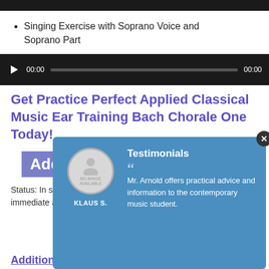[Figure (screenshot): Dark audio player bar with play button, time display 00:00, scrubber bar, and end time 00:00]
Singing Exercise with Soprano Voice and Soprano Part
[Figure (screenshot): Dark audio player bar with play button, time display 00:00, scrubber bar, and end time 00:00]
Get Practice Perfect Applied Classical Music Ear Training Bach Chorale One Today!
Add digi...  ...24.99
Status: In stock, Digital book can be downloaded for immediate acces...
[Figure (screenshot): Modal testimonial popup with blue background, circular no-image avatar for KLAUS S., Testimonials heading, and quote: Mr. Arnold offers practical advice and information to the contemporary music student.]
Additional Information for Bach Chorale One